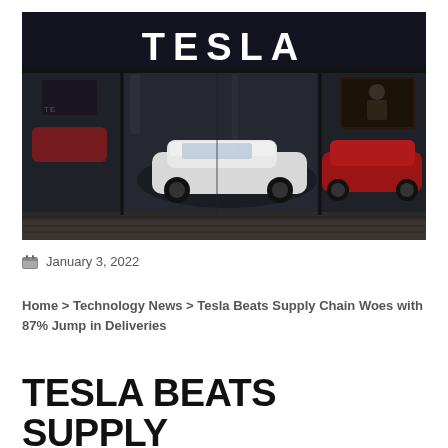[Figure (photo): Tesla showroom storefront at night with illuminated TESLA logo above the entrance, showing white and red Tesla vehicles on display inside a glass-fronted store]
January 3, 2022
Home > Technology News > Tesla Beats Supply Chain Woes with 87% Jump in Deliveries
TESLA BEATS SUPPLY